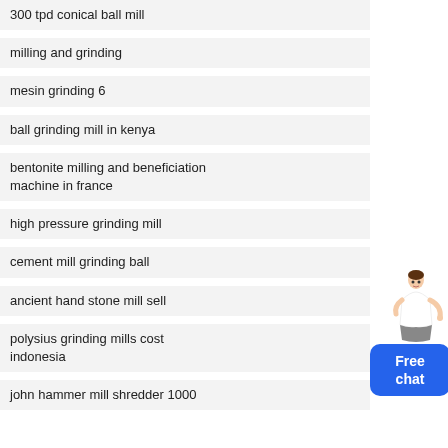300 tpd conical ball mill
milling and grinding
mesin grinding 6
ball grinding mill in kenya
bentonite milling and beneficiation machine in france
[Figure (illustration): A person (woman) standing next to a blue 'Free chat' button widget in the top-right area]
high pressure grinding mill
cement mill grinding ball
ancient hand stone mill sell
polysius grinding mills cost indonesia
john hammer mill shredder 1000